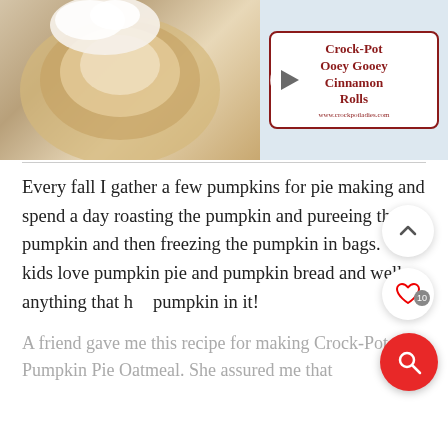[Figure (screenshot): Photo of cinnamon rolls with cream cheese frosting on the left half, and a recipe card on the right half reading 'Crock-Pot Ooey Gooey Cinnamon Rolls' with a play button overlay in the center]
Every fall I gather a few pumpkins for pie making and spend a day roasting the pumpkin and pureeing the pumpkin and then freezing the pumpkin in bags.  My kids love pumpkin pie and pumpkin bread and well anything that has pumpkin in it!
A friend gave me this recipe for making Crock-Pot Pumpkin Pie Oatmeal. She assured me that